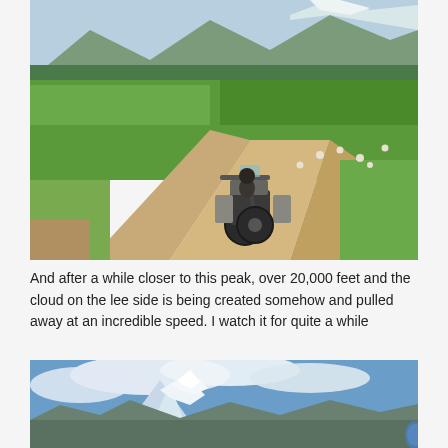[Figure (photo): A motorcycle with panniers on a dirt road winding through green agricultural fields with mountains and snow-capped peaks in the background. Sheep are grazing in the fields.]
And after a while closer to this peak, over 20,000 feet and the cloud on the lee side is being created somehow and pulled away at an incredible speed. I watch it for quite a while
[Figure (photo): Snow-capped mountain peaks with dramatic clouds against a blue sky, with rocky slopes in the foreground and a sliver of a blue mirror visible at the right edge.]